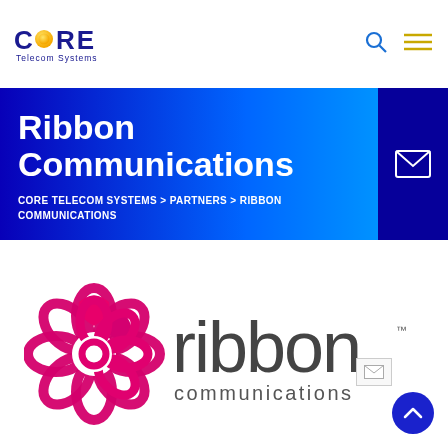[Figure (logo): Core Telecom Systems logo with yellow circular O and dark blue text]
Ribbon Communications
CORE TELECOM SYSTEMS > PARTNERS > RIBBON COMMUNICATIONS
[Figure (logo): Ribbon Communications logo with pink looped circle graphic and dark grey ribbon communications text]